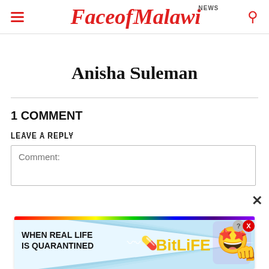FaceofMalawi NEWS
Anisha Suleman
1 COMMENT
LEAVE A REPLY
[Figure (screenshot): Comment text input box with placeholder text 'Comment:']
[Figure (screenshot): BitLife advertisement banner: 'WHEN REAL LIFE IS QUARANTINED' with BitLife logo and game character icons, rainbow bar at top, question mark and close X buttons in corner]